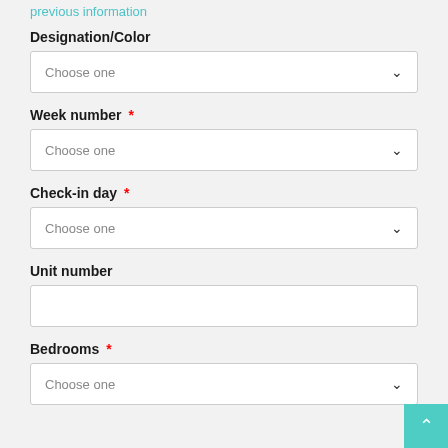previous information
Designation/Color
Choose one (dropdown)
Week number *
Choose one (dropdown)
Check-in day *
Choose one (dropdown)
Unit number
(text input field)
Bedrooms *
Choose one (dropdown)